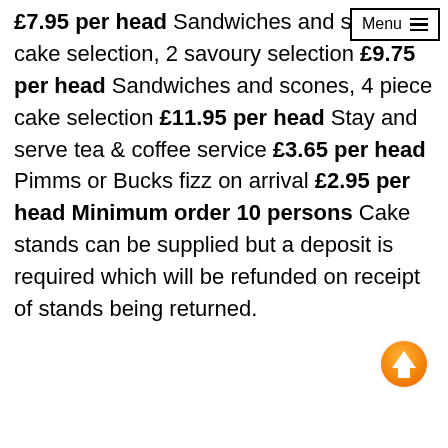£7.95 per head Sandwiches and scones, cake selection, 2 savoury selection £9.75 per head Sandwiches and scones, 4 piece cake selection £11.95 per head Stay and serve tea & coffee service £3.65 per head Pimms or Bucks fizz on arrival £2.95 per head Minimum order 10 persons Cake stands can be supplied but a deposit is required which will be refunded on receipt of stands being returned.
[Figure (other): Orange circular scroll-to-top button with white upward arrow icon]